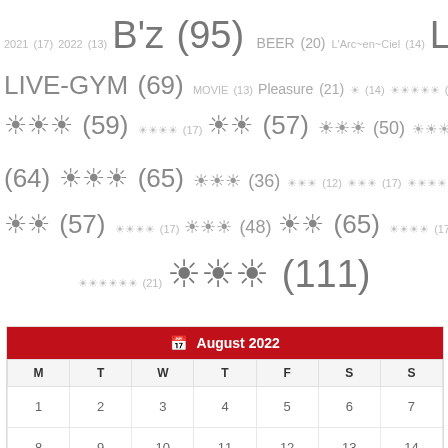Tag cloud: 2021 (17) 2022 (13) B'z (95) BEER (20) L'Arc~en~Ciel (14) LIVE (192) LIVE-GYM (69) MOVIE (13) Pleasure (21) ... (14) ... (16) ... (41) ... (59) ... (17) ... (57) ... (50) ... (26) ... (17) ... (12) ... (64) ... (65) ... (36) ... (12) ... (17) ... (14) ... (138) ... (17) ... (57) ... (17) ... (48) ... (65) ... (17) ... (23) ... (14) ... (47) ... (21) ... (111)
| M | T | W | T | F | S | S |
| --- | --- | --- | --- | --- | --- | --- |
| 1 | 2 | 3 | 4 | 5 | 6 | 7 |
| 8 | 9 | 10 | 11 | 12 | 13 | 14 |
| 15 | 16 | 17 | 18 | 19 | 20 | 21 |
| 22 | 23 | 24 | 25 | 26 | 27 | 28 |
| 29 | 30 | 31 |  |  |  |  |